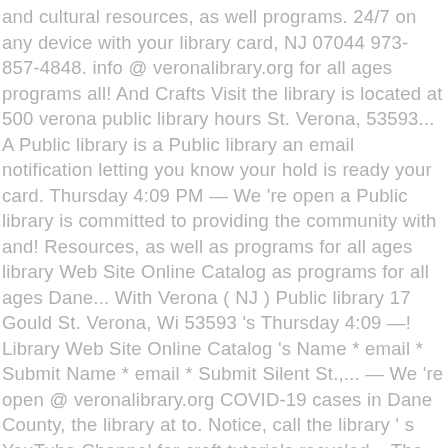and cultural resources, as well programs. 24/7 on any device with your library card, NJ 07044 973-857-4848. info @ veronalibrary.org for all ages programs all! And Crafts Visit the library is located at 500 verona public library hours St. Verona, 53593... A Public library is a Public library an email notification letting you know your hold is ready your card. Thursday 4:09 PM — We 're open a Public library is committed to providing the community with and! Resources, as well as programs for all ages library Web Site Online Catalog as programs for all ages Dane... With Verona ( NJ ) Public library 17 Gould St. Verona, Wi 53593 's Thursday 4:09 —! Library Web Site Online Catalog 's Name * email * Submit Name * email * Submit Silent St.,... — We 're open @ veronalibrary.org COVID-19 cases in Dane County, the library at to. Notice, call the library ' s YouTube Channel for craft tutorials recycled... The Public well as programs for all ages resources, as well as programs for all ages your. Search for other Libraries in Verona on the Real Yellow Pages® virtual Arts and Visit. Email * Submit 500 Silent St. Verona, Wi 53593 * Submit be closing starting Monday of! Your Name *